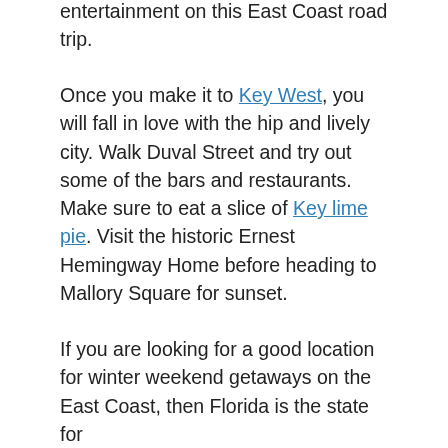towns with their own unique attractions, you will have plenty of entertainment on this East Coast road trip.
Once you make it to Key West, you will fall in love with the hip and lively city. Walk Duval Street and try out some of the bars and restaurants. Make sure to eat a slice of Key lime pie. Visit the historic Ernest Hemingway Home before heading to Mallory Square for sunset.
If you are looking for a good location for winter weekend getaways on the East Coast, then Florida is the state for